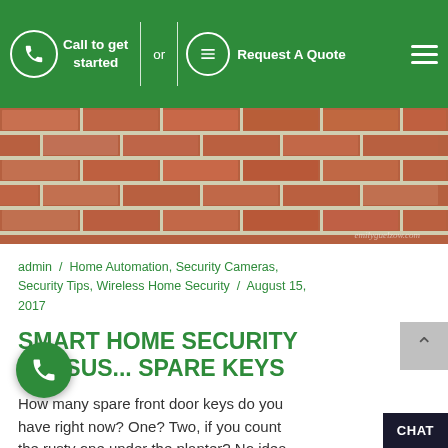Call to get started  or  Request A Quote
[Figure (photo): Close-up photograph of a red brick wall with mortar joints, watermark text 'emilyguelzow.com' in bottom right corner]
admin /  Home Automation, Security Cameras, Security Tips, Wireless Home Security /  August 15, 2017
SMART HOME SECURITY VERSUS... SPARE KEYS
How many spare front door keys do you have right now? One? Two, if you count the rusty one under the planter? No idea